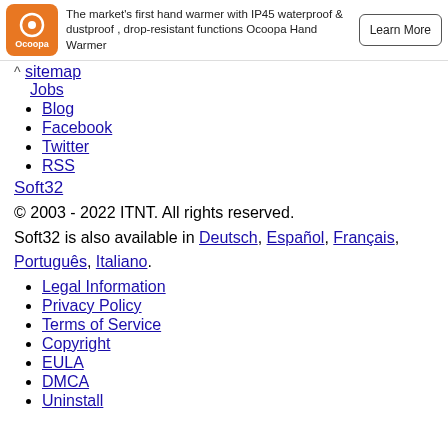[Figure (infographic): Ocoopa advertisement banner with orange logo, text about hand warmer with IP45 waterproof & dustproof, drop-resistant functions, and a Learn More button]
sitemap
Jobs
Blog
Facebook
Twitter
RSS
Soft32
© 2003 - 2022 ITNT. All rights reserved.
Soft32 is also available in Deutsch, Español, Français, Português, Italiano.
Legal Information
Privacy Policy
Terms of Service
Copyright
EULA
DMCA
Uninstall